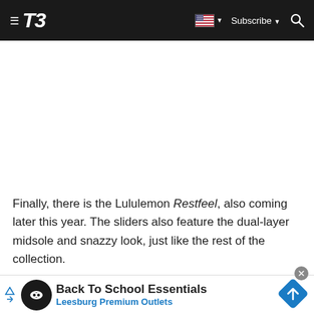T3 — Subscribe
[Figure (other): White empty content area (image placeholder)]
Finally, there is the Lululemon Restfeel, also coming later this year. The sliders also feature the dual-layer midsole and snazzy look, just like the rest of the collection.
[Figure (other): Advertisement banner: Back To School Essentials — Leesburg Premium Outlets]